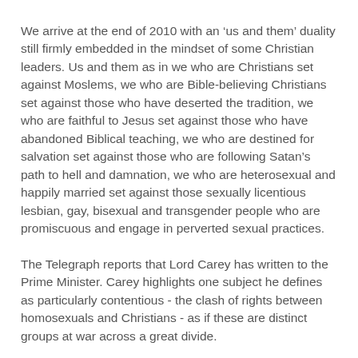We arrive at the end of 2010 with an ‘us and them’ duality still firmly embedded in the mindset of some Christian leaders. Us and them as in we who are Christians set against Moslems, we who are Bible-believing Christians set against those who have deserted the tradition, we who are faithful to Jesus set against those who have abandoned Biblical teaching, we who are destined for salvation set against those who are following Satan’s path to hell and damnation, we who are heterosexual and happily married set against those sexually licentious lesbian, gay, bisexual and transgender people who are promiscuous and engage in perverted sexual practices.
The Telegraph reports that Lord Carey has written to the Prime Minister. Carey highlights one subject he defines as particularly contentious - the clash of rights between homosexuals and Christians - as if these are distinct groups at war across a great divide.
Lord Carey mindlessly repeats the belief that those who hold traditional Christian viewpoints, “in common with millions